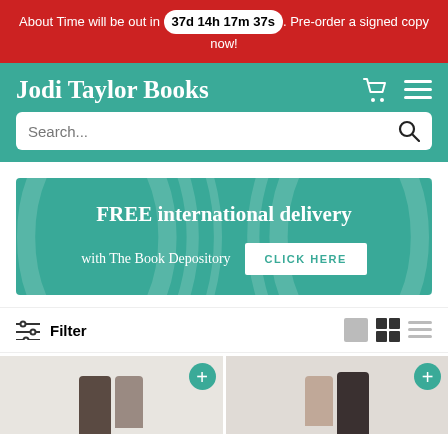About Time will be out in 37d 14h 17m 37s. Pre-order a signed copy now!
Jodi Taylor Books
Search...
[Figure (infographic): Promotional banner: FREE international delivery with The Book Depository – CLICK HERE button]
Filter
[Figure (photo): Two product cards showing people in dark clothing, with teal + buttons]